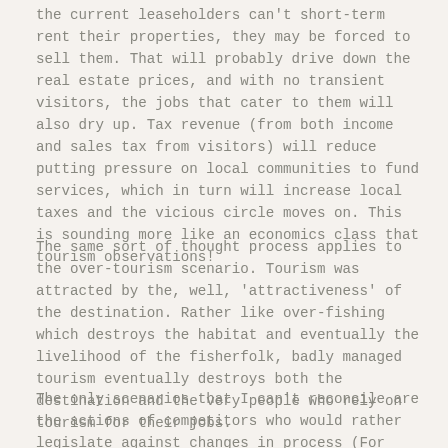the current leaseholders can't short-term rent their properties, they may be forced to sell them. That will probably drive down the real estate prices, and with no transient visitors, the jobs that cater to them will also dry up. Tax revenue (from both income and sales tax from visitors) will reduce putting pressure on local communities to fund services, which in turn will increase local taxes and the vicious circle moves on. This is sounding more like an economics class that tourism observations!
The same sort of thought process applies to the over-tourism scenario. Tourism was attracted by the, well, 'attractiveness' of the destination. Rather like over-fishing which destroys the habitat and eventually the livelihood of the fisherfolk, badly managed tourism eventually destroys both the destination and the very people who rely on tourism for their jobs.
The only scenarios that I can't reconcile are the actions of competitors who would rather legislate against changes in process (For example the taxi drivers versus Uber and Lyft in